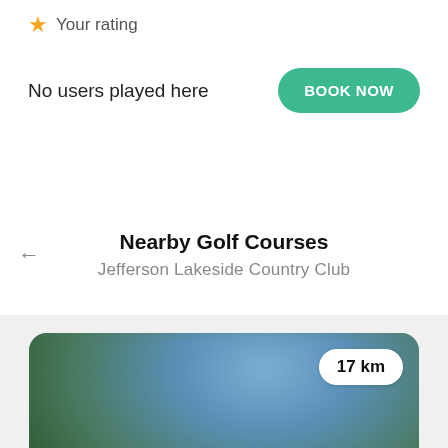★ Your rating
No users played here
BOOK NOW
Nearby Golf Courses
Jefferson Lakeside Country Club
[Figure (photo): Blurred golf course landscape image with green fairways and blue sky. Shows a distance badge reading '17 km' in the top right corner. A club logo (white box with dark green background and bird/leaf icon) is visible in the bottom left.]